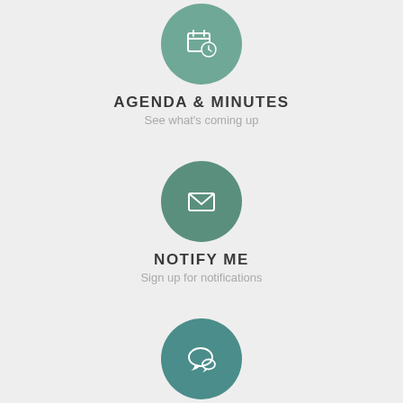[Figure (illustration): Green circle with calendar/clock icon for Agenda & Minutes]
AGENDA & MINUTES
See what's coming up
[Figure (illustration): Green circle with envelope/mail icon for Notify Me]
NOTIFY ME
Sign up for notifications
[Figure (illustration): Teal circle with speech bubble icon for Report a Concern]
REPORT A CONCERN
How can we help?